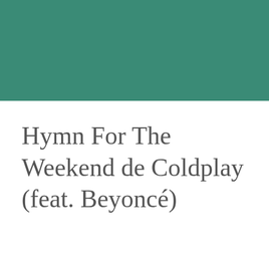[Figure (other): Solid teal/green rectangular color block occupying the top portion of the page]
Hymn For The Weekend de Coldplay (feat. Beyoncé)